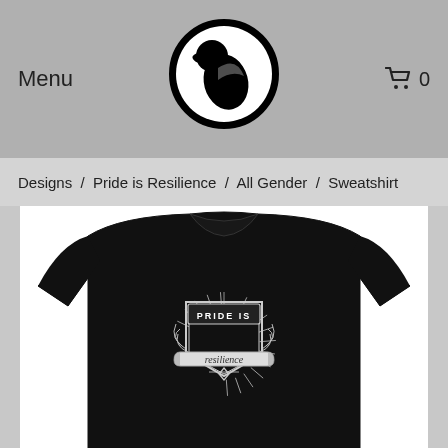Menu  0
Designs / Pride is Resilience / All Gender / Sweatshirt
[Figure (photo): Black crewneck sweatshirt with 'Pride is Resilience' graphic design on the chest, displayed on white background]